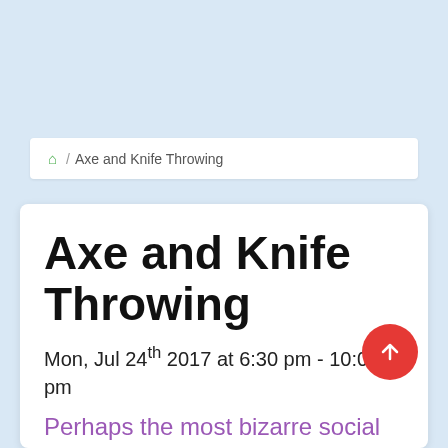🏠 / Axe and Knife Throwing
Axe and Knife Throwing
Mon, Jul 24th 2017 at 6:30 pm - 10:00 pm
Perhaps the most bizarre social event Stuart has yet